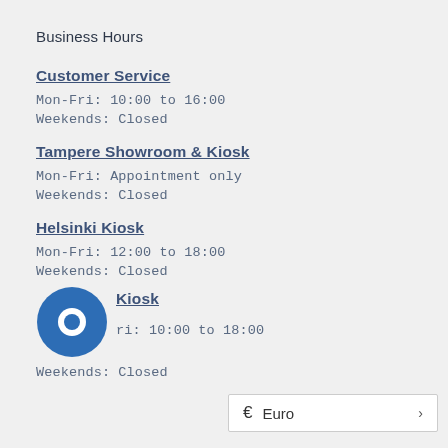Business Hours
Customer Service
Mon-Fri: 10:00 to 16:00
Weekends: Closed
Tampere Showroom & Kiosk
Mon-Fri: Appointment only
Weekends: Closed
Helsinki Kiosk
Mon-Fri: 12:00 to 18:00
Weekends: Closed
Kiosk
Mon-Fri: 10:00 to 18:00
Weekends: Closed
€  Euro  ›